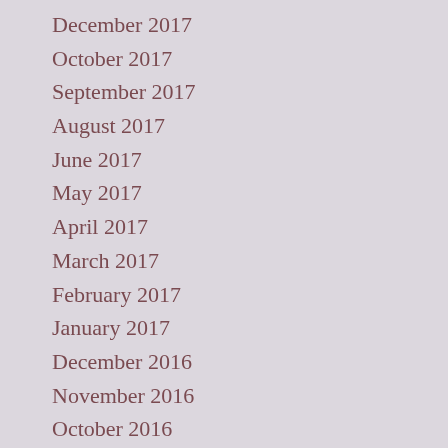December 2017
October 2017
September 2017
August 2017
June 2017
May 2017
April 2017
March 2017
February 2017
January 2017
December 2016
November 2016
October 2016
September 2016
August 2016
July 2016
June 2016
May 2016